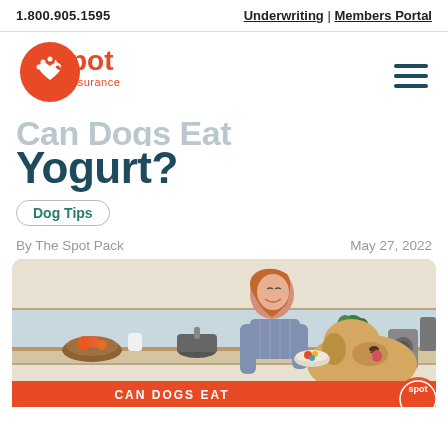1.800.905.1595   Underwriting | Members Portal
[Figure (logo): Spot Pet Insurance logo — red/orange circle with heart and paw, text 'spot pet insurance']
Can Dogs Eat Yogurt?
Dog Tips
By The Spot Pack   May 27, 2022
[Figure (photo): Woman smiling in a kitchen with a golden retriever dog. The dog is eating from a bowl she is holding. A laptop is open on the counter. Banner at bottom reads 'CAN DOGS EAT' in white text on red background. Spot logo visible at bottom right corner.]